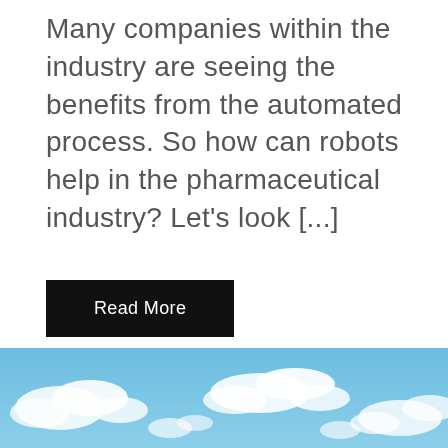Many companies within the industry are seeing the benefits from the automated process. So how can robots help in the pharmaceutical industry? Let's look [...]
Read More
[Figure (photo): Blue sky with white clouds, cropped view at the bottom of the page]